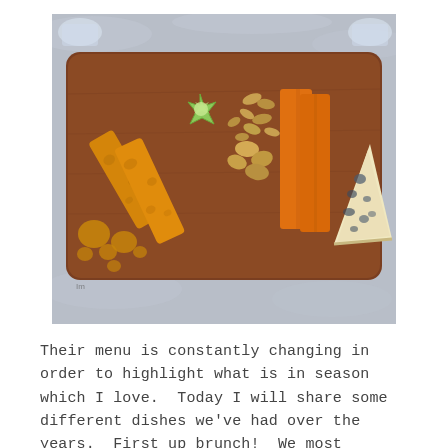[Figure (photo): A cheese board on a dark brown slate/wood board placed on a marble table. The board features several slices of orange/yellow holey cheese, two tall orange cheddar slices, a wedge of blue cheese, a small star-shaped apple or melon garnish, scattered almonds/nuts, and small round dots of honey or sauce on the lower left. Two glasses are partially visible in the top corners.]
Their menu is constantly changing in order to highlight what is in season which I love.  Today I will share some different dishes we've had over the years.  First up brunch!  We most recently stopped in for brunch over the summer when my parents were in town visiting.  I